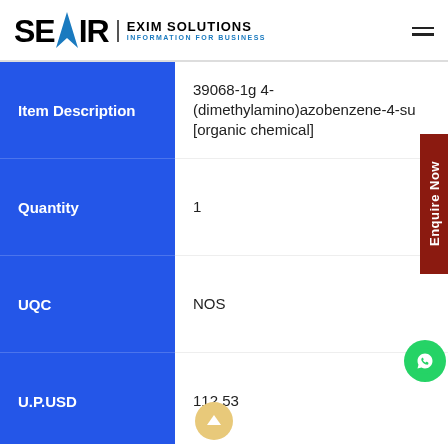SEAIR EXIM SOLUTIONS INFORMATION FOR BUSINESS
| Field | Value |
| --- | --- |
| Item Description | 39068-1g 4-(dimethylamino)azobenzene-4-su [organic chemical] |
| Quantity | 1 |
| UQC | NOS |
| U.P.USD | 112.53 |
| Assess USD | 112.53 |
| COO | germany |